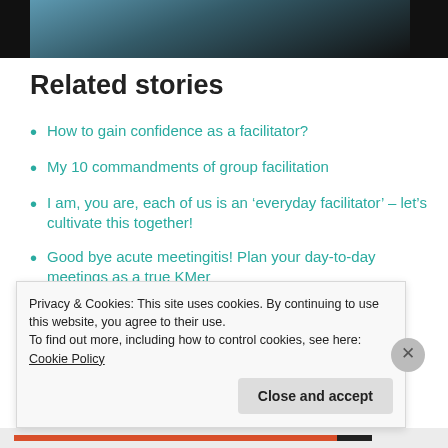[Figure (photo): Partial photo at top of page showing people, mostly dark/black cropped image]
Related stories
How to gain confidence as a facilitator?
My 10 commandments of group facilitation
I am, you are, each of us is an ‘everyday facilitator’ – let’s cultivate this together!
Good bye acute meetingitis! Plan your day-to-day meetings as a true KMer
Privacy & Cookies: This site uses cookies. By continuing to use this website, you agree to their use.
To find out more, including how to control cookies, see here: Cookie Policy
Close and accept